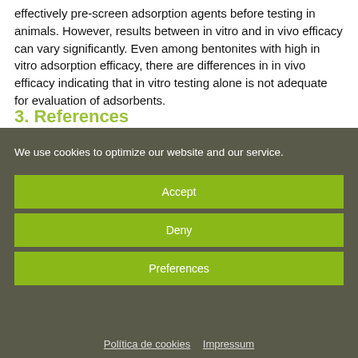effectively pre-screen adsorption agents before testing in animals. However, results between in vitro and in vivo efficacy can vary significantly. Even among bentonites with high in vitro adsorption efficacy, there are differences in in vivo efficacy indicating that in vitro testing alone is not adequate for evaluation of adsorbents.
3. References
We use cookies to optimize our website and our service.
Accept
Deny
Preferences
Política de cookies   Impressum